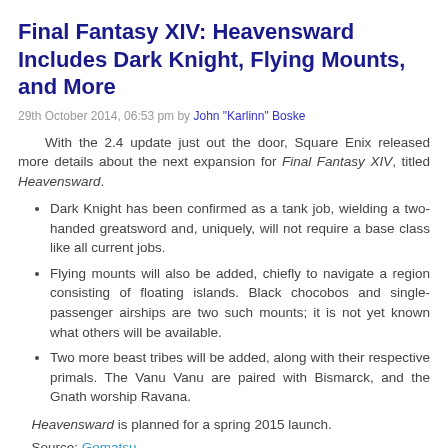Final Fantasy XIV: Heavensward Includes Dark Knight, Flying Mounts, and More
29th October 2014, 06:53 pm by John "Karlinn" Boske
With the 2.4 update just out the door, Square Enix released more details about the next expansion for Final Fantasy XIV, titled Heavensward.
Dark Knight has been confirmed as a tank job, wielding a two-handed greatsword and, uniquely, will not require a base class like all current jobs.
Flying mounts will also be added, chiefly to navigate a region consisting of floating islands. Black chocobos and single-passenger airships are two such mounts; it is not yet known what others will be available.
Two more beast tribes will be added, along with their respective primals. The Vanu Vanu are paired with Bismarck, and the Gnath worship Ravana.
Heavensward is planned for a spring 2015 launch.
Source: Gematsu
Category: Game News | Comment
Tags: Final Fantasy (series), Final Fantasy XIV, Final Fantasy XIV: Heavensward